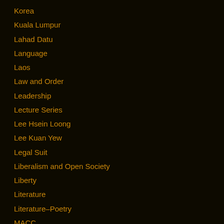Korea
Kuala Lumpur
Lahad Datu
Language
Laos
Law and Order
Leadership
Lecture Series
Lee Hsein Loong
Lee Kuan Yew
Legal Suit
Liberalism and Open Society
Liberty
Literature
Literature–Poetry
MACC
Macroeconomics
Mahathir
Malay
Malay Fascists